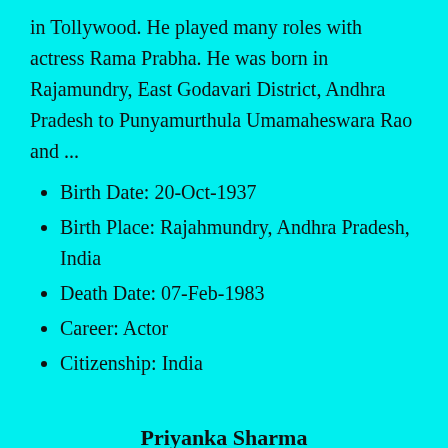in Tollywood. He played many roles with actress Rama Prabha. He was born in Rajamundry, East Godavari District, Andhra Pradesh to Punyamurthula Umamaheswara Rao and ...
Birth Date: 20-Oct-1937
Birth Place: Rajahmundry, Andhra Pradesh, India
Death Date: 07-Feb-1983
Career: Actor
Citizenship: India
Priyanka Sharma
Priyanka Sharma (born 20 October 1986) is an Indian VJ and actress. She was born in Ghaziabad, India and later moved to Jhansi. She attended Lady Shri Ram College for Women in Delhi. She started her career as an MTV India VJ and then appeared in a few music videos, which